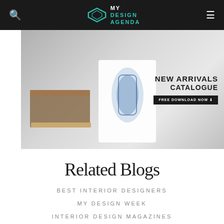MY DESIGN AGENDA
[Figure (photo): Banner advertisement showing furniture/decorative items with text 'NEW ARRIVALS CATALOGUE - FREE DOWNLOAD NOW']
Related Blogs
BEST INTERIOR DESIGNERS
MY DESIGN WEEK
INTERIOR DESIGN MAGAZINES
PARIS DESIGN AGENDA
NY DESIGN AGENDA